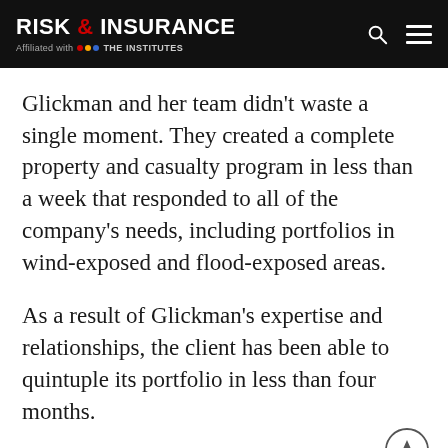RISK & INSURANCE — Affiliated with THE INSTITUTES
Glickman and her team didn’t waste a single moment. They created a complete property and casualty program in less than a week that responded to all of the company’s needs, including portfolios in wind-exposed and flood-exposed areas.
As a result of Glickman’s expertise and relationships, the client has been able to quintuple its portfolio in less than four months.
“What I really like about Alex is that she’s